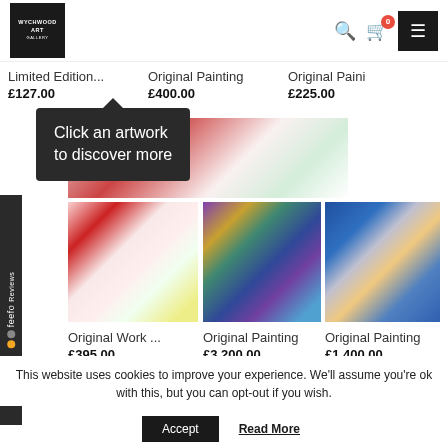[Figure (logo): Wychwood Art Gallery logo — white text on black square background]
Limited Edition...
£127.00
Original Painting
£400.00
Original Painting
£225.00
[Figure (other): Tooltip popup with dark background: 'Click an artwork to discover more']
[Figure (photo): Floral abstract painting (red/pink flowers)]
[Figure (photo): Colorful painting with cup motif]
[Figure (photo): Painting of a door in blue tones]
Original Work ...
£395.00
Original Painting
£3,200.00
Original Painting
£1,400.00
This website uses cookies to improve your experience. We'll assume you're ok with this, but you can opt-out if you wish.